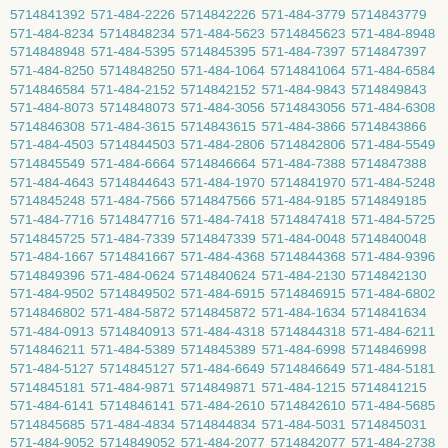5714841392 571-484-2226 5714842226 571-484-3779 5714843779 571-484-8234 5714848234 571-484-5623 5714845623 571-484-8948 5714848948 571-484-5395 5714845395 571-484-7397 5714847397 571-484-8250 5714848250 571-484-1064 5714841064 571-484-6584 5714846584 571-484-2152 5714842152 571-484-9843 5714849843 571-484-8073 5714848073 571-484-3056 5714843056 571-484-6308 5714846308 571-484-3615 5714843615 571-484-3866 5714843866 571-484-4503 5714844503 571-484-2806 5714842806 571-484-5549 5714845549 571-484-6664 5714846664 571-484-7388 5714847388 571-484-4643 5714844643 571-484-1970 5714841970 571-484-5248 5714845248 571-484-7566 5714847566 571-484-9185 5714849185 571-484-7716 5714847716 571-484-7418 5714847418 571-484-5725 5714845725 571-484-7339 5714847339 571-484-0048 5714840048 571-484-1667 5714841667 571-484-4368 5714844368 571-484-9396 5714849396 571-484-0624 5714840624 571-484-2130 5714842130 571-484-9502 5714849502 571-484-6915 5714846915 571-484-6802 5714846802 571-484-5872 5714845872 571-484-1634 5714841634 571-484-0913 5714840913 571-484-4318 5714844318 571-484-6211 5714846211 571-484-5389 5714845389 571-484-6998 5714846998 571-484-5127 5714845127 571-484-6649 5714846649 571-484-5181 5714845181 571-484-9871 5714849871 571-484-1215 5714841215 571-484-6141 5714846141 571-484-2610 5714842610 571-484-5685 5714845685 571-484-4834 5714844834 571-484-5031 5714845031 571-484-9052 5714849052 571-484-2077 5714842077 571-484-2738 5714842738 571-484-9950 5714849950 571-484-1722 5714841722 571-484-6299 5714846299 571-484-1071 5714841071 571-484-0875